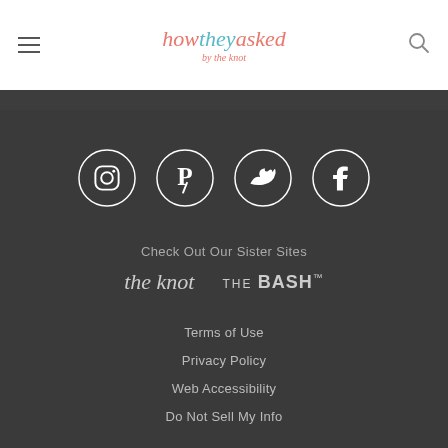how they asked by the knot
[Figure (infographic): Footer section with social media icons (Instagram, Pinterest, Twitter, Facebook) in white circles on dark gray background, followed by sister site logos (The Knot, The Bash) and footer navigation links.]
Check Out Our Sister Sites
the knot   THE BASH™
Terms of Use
Privacy Policy
Web Accessibility
Do Not Sell My Info